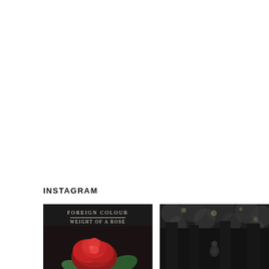INSTAGRAM
[Figure (photo): Album cover for 'Foreign Colour – Weight of a Rose' showing the band/artist name and album title in serif text over a dark background with a red rose in the lower portion]
[Figure (photo): Dark grayscale photo of a figure in a forest or outdoor setting with bokeh/foliage in the background]